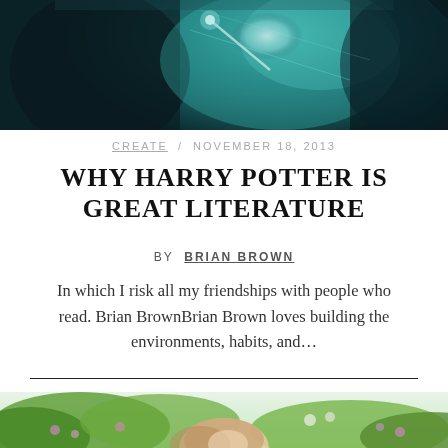[Figure (photo): Dark fantasy/wizard photo with glowing teal light and a figure in dark robes]
CREATE / NOVEMBER 18, 2013
WHY HARRY POTTER IS GREAT LITERATURE
BY BRIAN BROWN
In which I risk all my friendships with people who read. Brian BrownBrian Brown loves building the environments, habits, and…
[Figure (photo): A young woman with wavy blonde hair outdoors among green foliage and flowers, looking upward]